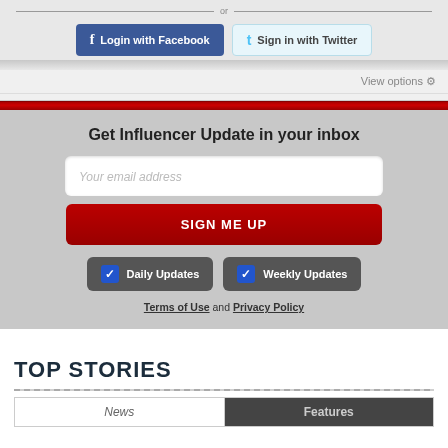[Figure (screenshot): Login with Facebook and Sign in with Twitter social login buttons on a gray background]
View options
Get Influencer Update in your inbox
Your email address
SIGN ME UP
Daily Updates
Weekly Updates
Terms of Use and Privacy Policy
TOP STORIES
News
Features